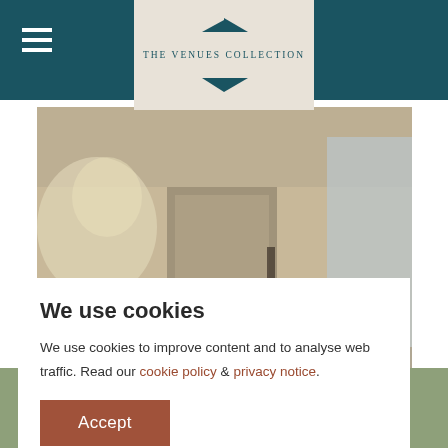THE VENUES COLLECTION
[Figure (photo): Blurred interior photo of a venue room showing elegant decor, mirror, chandelier, and curtains]
We use cookies
We use cookies to improve content and to analyse web traffic. Read our cookie policy & privacy notice.
Accept